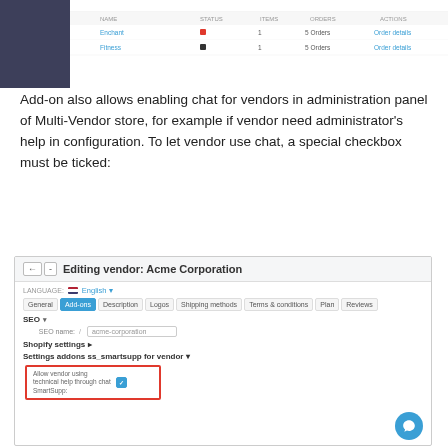[Figure (screenshot): Top portion of a software admin panel screenshot showing a table with rows including 'Enable' and 'Flees' entries with columns for name, status indicators, and action links.]
Add-on also allows enabling chat for vendors in administration panel of Multi-Vendor store, for example if vendor need administrator's help in configuration. To let vendor use chat, a special checkbox must be ticked:
[Figure (screenshot): Screenshot of 'Editing vendor: Acme Corporation' admin panel showing tabs (General, Add-ons active, Description, Logos, Shipping methods, Terms & conditions, Plan, Reviews), SEO section with SEO name field showing 'acme-corporation', Shopify settings section, Settings addons ss_smartsupp for vendor section, and a highlighted checkbox 'Allow vendor using technical help through chat SmartSupp' with a chat bubble icon in the bottom right.]